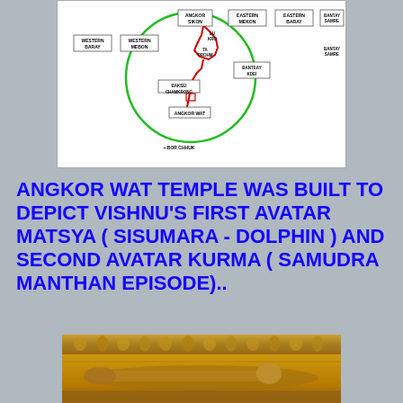[Figure (map): Schematic map showing locations around Angkor Wat area including Western Baray, Western Mebon, Eastern Mebon, Eastern Baray, Bantay Samre, Banteay Kdei, Baksei Chamkrong, Angkor Wat, and Bor Chhuk, with a green circle overlay and a red line tracing a path.]
ANGKOR WAT TEMPLE WAS BUILT TO DEPICT VISHNU'S FIRST AVATAR MATSYA ( SISUMARA - DOLPHIN ) AND SECOND AVATAR KURMA ( SAMUDRA MANTHAN EPISODE)..
[Figure (photo): Golden bas-relief sculpture from Angkor Wat temple showing carved stone figures in a scene, appearing to depict the Samudra Manthan (churning of the ocean) episode.]